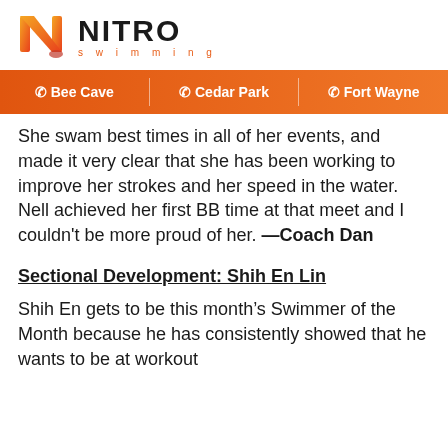[Figure (logo): Nitro Swimming logo with orange N figure and NITRO text in black with 'swimming' in orange below]
☎ Bee Cave  |  ☎ Cedar Park  |  ☎ Fort Wayne
She swam best times in all of her events, and made it very clear that she has been working to improve her strokes and her speed in the water.  Nell achieved her first BB time at that meet and I couldn't be more proud of her. —Coach Dan
Sectional Development: Shih En Lin
Shih En gets to be this month's Swimmer of the Month because he has consistently showed that he wants to be at workout